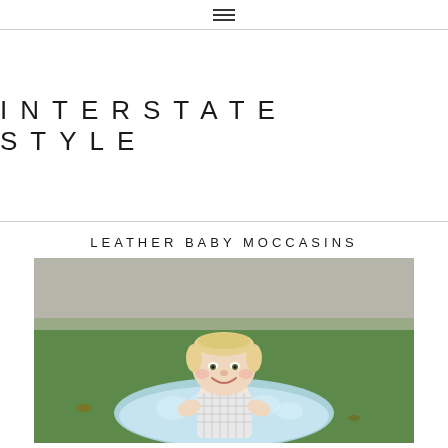≡
INTERSTATE STYLE
LEATHER BABY MOCCASINS
[Figure (photo): Smiling baby/toddler with light blonde hair sitting outdoors on a light blue fluffy blanket, on green grass with pavement/sidewalk in the background]